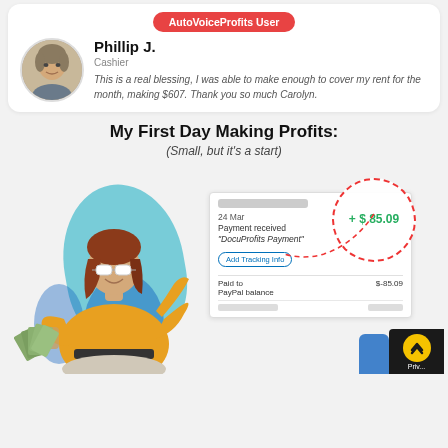[Figure (other): Testimonial card for AutoVoiceProfits User - Phillip J., Cashier with profile photo and quote about making $607 for rent]
My First Day Making Profits:
(Small, but it's a start)
[Figure (infographic): Promotional image showing a woman holding money fans next to a PayPal payment screenshot showing +$85.09 payment received 'DocuProfits Payment' on 24 Mar, with red dashed arrow circle highlighting the amount]